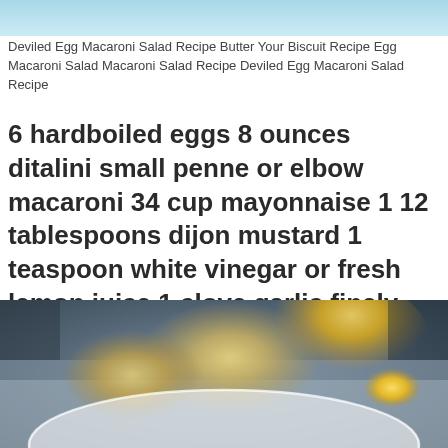[Figure (photo): Top portion of a food photo, blurred blue-gray background]
Deviled Egg Macaroni Salad Recipe Butter Your Biscuit Recipe Egg Macaroni Salad Macaroni Salad Recipe Deviled Egg Macaroni Salad Recipe
6 hardboiled eggs 8 ounces ditalini small penne or elbow macaroni 34 cup mayonnaise 1 12 tablespoons dijon mustard 1 teaspoon white vinegar or fresh lemon juice 1 clove garlic finely minced or crushed to paste 12 teaspoon kosher salt adjust to taste.
[Figure (photo): Close-up blurred photo of deviled egg macaroni salad in a white bowl with yellow egg yolk visible]